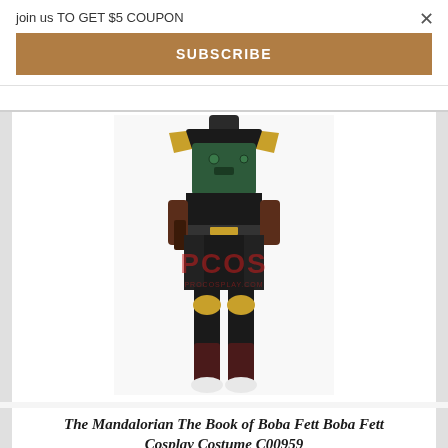join us TO GET $5 COUPON
×
SUBSCRIBE
[Figure (photo): Full-body cosplay costume of Boba Fett from The Mandalorian / The Book of Boba Fett. The costume features a dark jumpsuit/bodysuit, green chest armor plate, yellow/gold shoulder armor pieces, brown leather belt with gold buckle, brown gauntlets/gloves, black knee pads with gold kneecap, long dark side panels/skirt over black pants, and dark red/maroon boots. The mannequin has no head visible. A watermark reading 'PCOS' is visible in red in the center, with 'PROCOSPLAY.COM' below it.]
The Mandalorian The Book of Boba Fett Boba Fett Cosplay Costume C00959